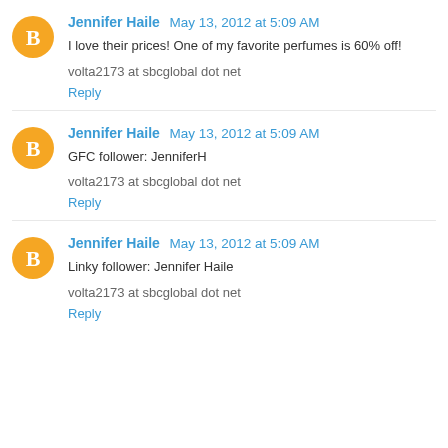Jennifer Haile May 13, 2012 at 5:09 AM
I love their prices! One of my favorite perfumes is 60% off!
volta2173 at sbcglobal dot net
Reply
Jennifer Haile May 13, 2012 at 5:09 AM
GFC follower: JenniferH
volta2173 at sbcglobal dot net
Reply
Jennifer Haile May 13, 2012 at 5:09 AM
Linky follower: Jennifer Haile
volta2173 at sbcglobal dot net
Reply